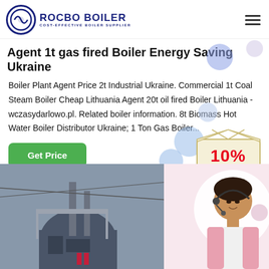ROCBO BOILER - COST-EFFECTIVE BOILER SUPPLIER
Agent 1t gas fired Boiler Energy Saving Ukraine
Boiler Plant Agent Price 2t Industrial Ukraine. Commercial 1t Coal Steam Boiler Cheap Lithuania Agent 20t oil fired Boiler Lithuania - wczasydarlowo.pl. Related boiler information. 8t Biomass Hot Water Boiler Distributor Ukraine; 1 Ton Gas Boiler...
[Figure (photo): Industrial gas fired boiler outdoor installation with support structure]
[Figure (photo): Customer service agent woman with headset smiling]